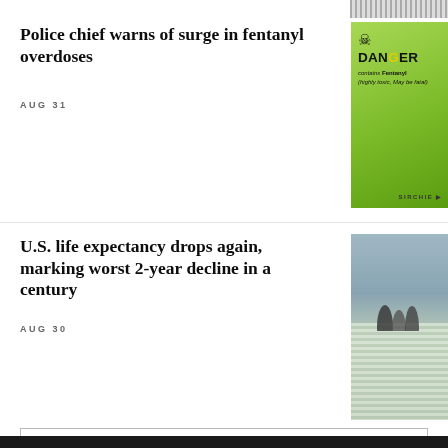[Figure (photo): Partial view of pills or white capsules at top right]
Police chief warns of surge in fentanyl overdoses
AUG 31
[Figure (photo): Green warning label reading DANGER contains Fentanyl (highly toxic, May be fatal) with skull crossbones symbol, SIRCHIE brand]
U.S. life expectancy drops again, marking worst 2-year decline in a century
AUG 30
[Figure (photo): People standing among a field of small white flags memorial installation]
More in Health ›